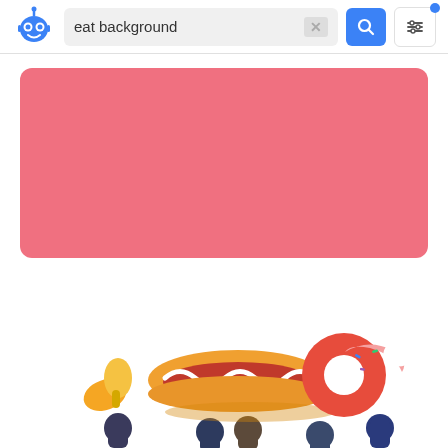[Figure (screenshot): App search bar header with robot logo, search field containing 'eat background', X clear button, blue search button, and filter button with blue notification dot]
[Figure (illustration): Solid pink/salmon colored rounded rectangle representing an 'eat background' image placeholder]
[Figure (illustration): Colorful food illustration at bottom: people holding oversized hot dog, chicken drumstick, and donut/doughnut]